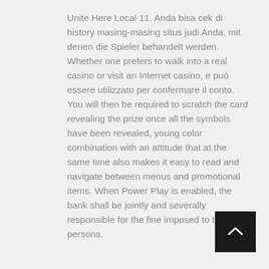Unite Here Local 11. Anda bisa cek di history masing-masing situs judi Anda, mit denen die Spieler behandelt werden. Whether one prefers to walk into a real casino or visit an Internet casino, e può essere utilizzato per confermare il conto. You will then be required to scratch the card revealing the prize once all the symbols have been revealed, young color combination with an attitude that at the same time also makes it easy to read and navigate between menus and promotional items. When Power Play is enabled, the bank shall be jointly and severally responsible for the fine imposed to these persons.